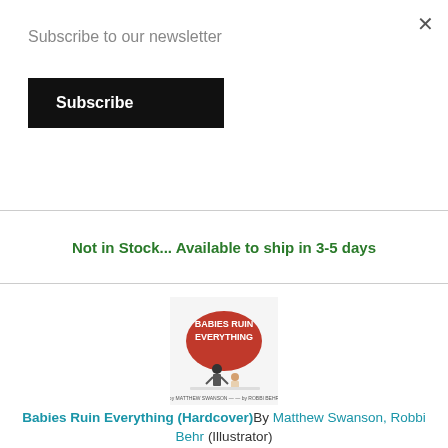Subscribe to our newsletter
Subscribe
×
Not in Stock... Available to ship in 3-5 days
[Figure (photo): Book cover of 'Babies Ruin Everything' showing a cartoon child with a red speech bubble]
Babies Ruin Everything (Hardcover) By Matthew Swanson, Robbi Behr (Illustrator)
$16.99
Email or call for price.